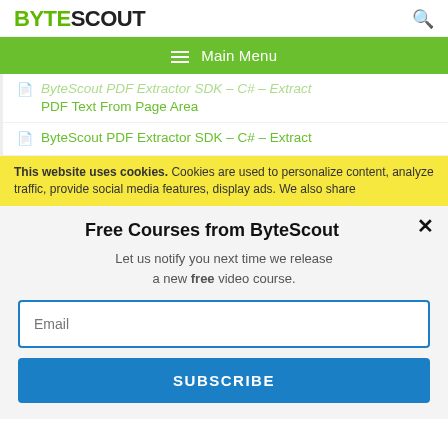BYTESCOUT [search icon]
≡  Main Menu
ByteScout PDF Extractor SDK – C# – Extract PDF Text From Page Area
ByteScout PDF Extractor SDK – C# – Extract
This website uses cookies. Cookies are used to personalize content, analyze traffic, provide social media features, display ads. We also share
Free Courses from ByteScout
Let us notify you next time we release a new free video course.
Email
SUBSCRIBE